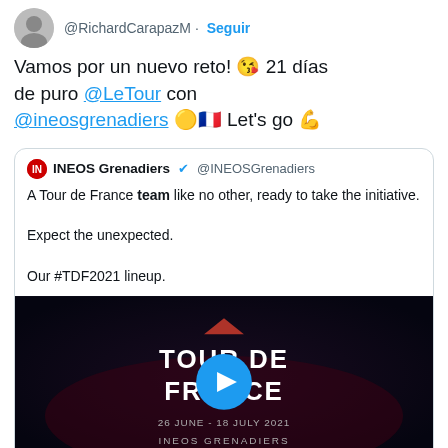@RichardCarapazM · Seguir
Vamos por un nuevo reto! 😘 21 días de puro @LeTour con @ineosgrenadiers 🟡🇫🇷 Let's go 💪
INEOS Grenadiers ✔ @INEOSGrenadiers
A Tour de France team like no other, ready to take the initiative.

Expect the unexpected.

Our #TDF2021 lineup.
[Figure (screenshot): Tour de France video thumbnail with dark background, 'TOUR DE FRANCE' text, INEOS Grenadiers branding, '26 JUNE - 18 JULY 2021' date, and a blue play button overlay]